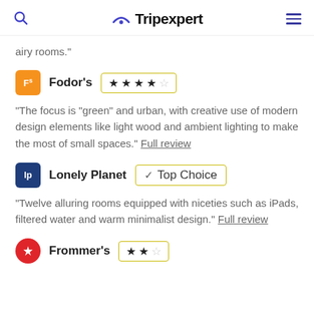Tripexpert
airy rooms."
Fodor's — ★★★★☆
"The focus is "green" and urban, with creative use of modern design elements like light wood and ambient lighting to make the most of small spaces." Full review
Lonely Planet — ✓ Top Choice
"Twelve alluring rooms equipped with niceties such as iPads, filtered water and warm minimalist design." Full review
Frommer's — ★★☆